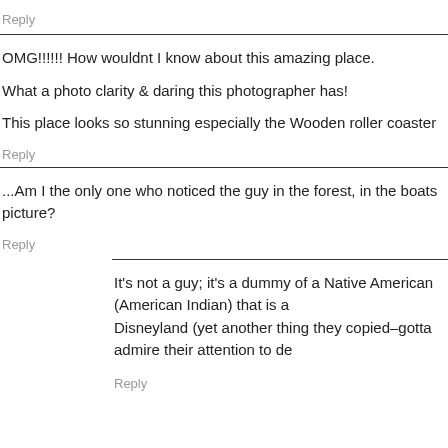Reply
OMG!!!!!! How wouldnt I know about this amazing place.

What a photo clarity & daring this photographer has!

This place looks so stunning especially the Wooden roller coaster
Reply
...Am I the only one who noticed the guy in the forest, in the boats picture?
Reply
It's not a guy; it's a dummy of a Native American (American Indian) that is a Disneyland (yet another thing they copied–gotta admire their attention to de
Reply